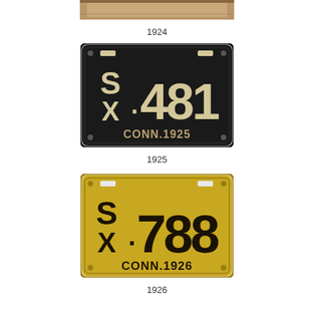[Figure (photo): Partial view of a 1924 Connecticut license plate at top of page (cropped)]
1924
[Figure (photo): Connecticut 1925 license plate, black background with tan/beige raised letters and numbers reading S-X 481, with CONN.1925 at the bottom]
1925
[Figure (photo): Connecticut 1926 license plate, yellow/gold background with black raised letters and numbers reading S-X 788, with CONN.1926 at the bottom]
1926